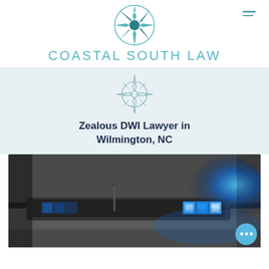[Figure (logo): Coastal South Law compass rose logo — teal/dark teal compass rose with 8 points and circle center]
COASTAL SOUTH LAW
[Figure (logo): Smaller outline compass rose logo centered in light blue band]
Zealous DWI Lawyer in Wilmington, NC
[Figure (photo): Close-up photo of a police car roof showing blue flashing emergency lights against a dark background]